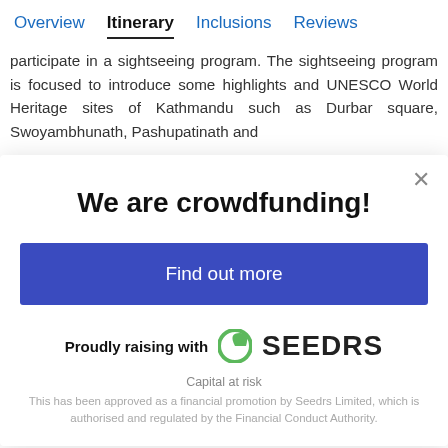Overview  Itinerary  Inclusions  Reviews
participate in a sightseeing program. The sightseeing program is focused to introduce some highlights and UNESCO World Heritage sites of Kathmandu such as Durbar square, Swoyambhunath, Pashupatinath and
We are crowdfunding!
Find out more
Proudly raising with SEEDRS
Capital at risk
This has been approved as a financial promotion by Seedrs Limited, which is authorised and regulated by the Financial Conduct Authority.